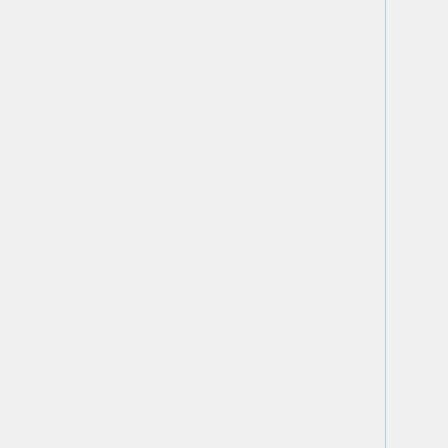| Name | OK |  |  |
| --- | --- | --- | --- |
| Genomics) | OK |  |  |
| Jim Kretz (CBCP) | OK |  |  |
| Mitra Rocca (CIC) | OK |  |  |
| Joginder Madra (PH) | OK |  |  |
| John Garguilo (HCD) | OK |  |  |
| Count | 11 | 0 | 1 |
| Comments: Add CQI as an Interested Party - Floyd |  |  |  |